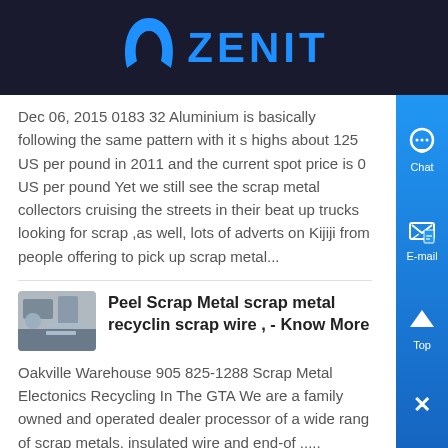ZENIT
Dec 06, 2015 0183 32 Aluminium is basically following the same pattern with it s highs about 125 US per pound in 2011 and the current spot price is 0 US per pound Yet we still see the scrap metal collectors cruising the streets in their beat up trucks looking for scrap ,as well, lots of adverts on Kijiji from people offering to pick up scrap metal...
Peel Scrap Metal scrap metal recycling scrap wire , - Know More
Oakville Warehouse 905 825-1288 Scrap Metal Electonics Recycling In The GTA We are a family owned and operated dealer processor of a wide range of scrap metals, insulated wire and end-of ,...